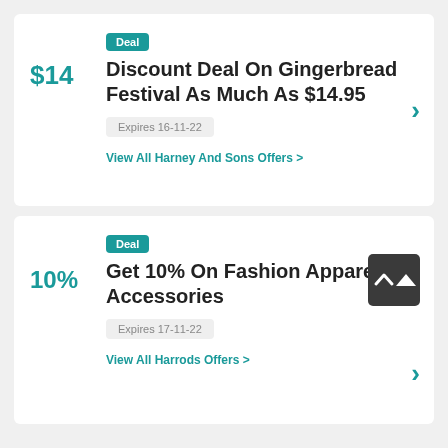Deal
Discount Deal On Gingerbread Festival As Much As $14.95
Expires 16-11-22
View All Harney And Sons Offers >
Deal
Get 10% On Fashion Apparels & Accessories
Expires 17-11-22
View All Harrods Offers >